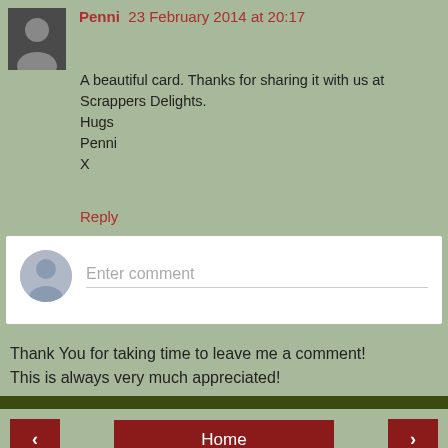Penni 23 February 2014 at 20:17
A beautiful card. Thanks for sharing it with us at Scrappers Delights.
Hugs
Penni
X
Reply
[Figure (other): Comment input box with default avatar and placeholder text 'Enter comment']
Thank You for taking time to leave me a comment!
This is always very much appreciated!
Home
View web version
Denise